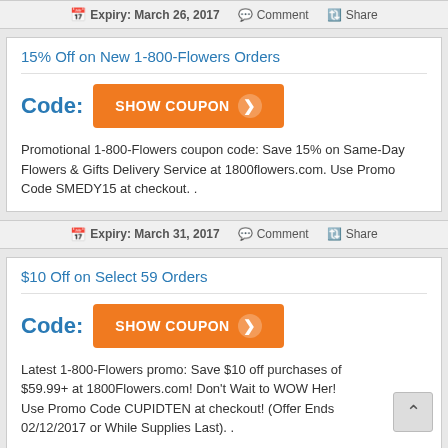Expiry: March 26, 2017   Comment   Share
15% Off on New 1-800-Flowers Orders
Code: SHOW COUPON
Promotional 1-800-Flowers coupon code: Save 15% on Same-Day Flowers & Gifts Delivery Service at 1800flowers.com. Use Promo Code SMEDY15 at checkout. .
Expiry: March 31, 2017   Comment   Share
$10 Off on Select 59 Orders
Code: SHOW COUPON
Latest 1-800-Flowers promo: Save $10 off purchases of $59.99+ at 1800Flowers.com! Don't Wait to WOW Her! Use Promo Code CUPIDTEN at checkout! (Offer Ends 02/12/2017 or While Supplies Last). .